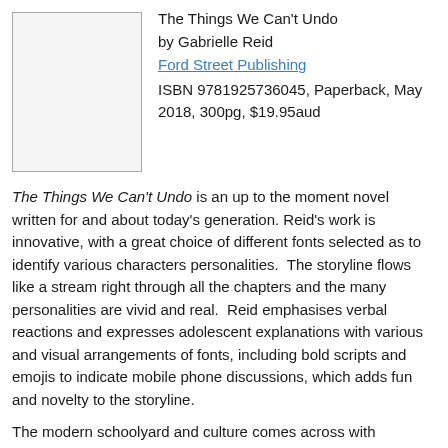[Figure (illustration): Book cover placeholder — white/light grey rectangle with border]
The Things We Can't Undo
by Gabrielle Reid
Ford Street Publishing
ISBN 9781925736045, Paperback, May 2018, 300pg, $19.95aud
The Things We Can't Undo is an up to the moment novel written for and about today's generation. Reid's work is innovative, with a great choice of different fonts selected as to identify various characters personalities.  The storyline flows like a stream right through all the chapters and the many personalities are vivid and real.  Reid emphasises verbal reactions and expresses adolescent explanations with various and visual arrangements of fonts, including bold scripts and emojis to indicate mobile phone discussions, which adds fun and novelty to the storyline.
The modern schoolyard and culture comes across with